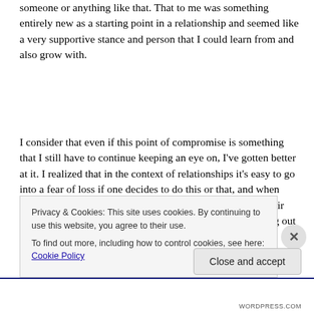someone or anything like that. That to me was something entirely new as a starting point in a relationship and seemed like a very supportive stance and person that I could learn from and also grow with.
I consider that even if this point of compromise is something that I still have to continue keeping an eye on, I've gotten better at it. I realized that in the context of relationships it's easy to go into a fear of loss if one decides to do this or that, and when there's someone that even though they love you with all their being, they let you know that whenever 'this' is not working out
Privacy & Cookies: This site uses cookies. By continuing to use this website, you agree to their use.
To find out more, including how to control cookies, see here: Cookie Policy
Close and accept
WORDPRESS.COM